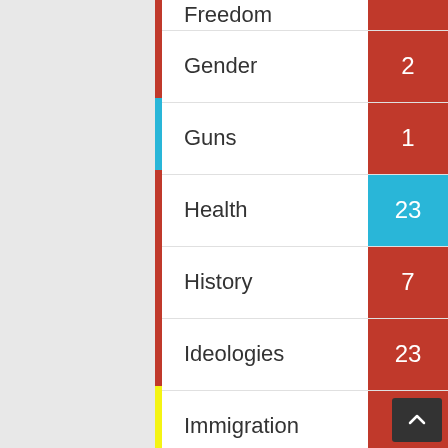| Topic | Count |
| --- | --- |
| Freedom |  |
| Gender | 2 |
| Guns | 1 |
| Health | 23 |
| History | 7 |
| Ideologies | 23 |
| Immigration | 16 |
| Import Export | 1 |
| Justice | 15 |
| Key Concepts | 4 |
| Law | 3 |